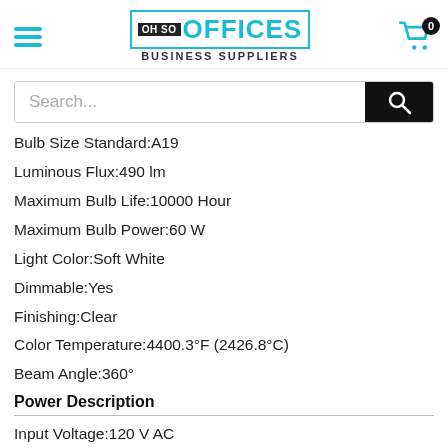OH SO OFFICES BUSINESS SUPPLIERS
Search...
Bulb Size Standard:A19
Luminous Flux:490 lm
Maximum Bulb Life:10000 Hour
Maximum Bulb Power:60 W
Light Color:Soft White
Dimmable:Yes
Finishing:Clear
Color Temperature:4400.3°F (2426.8°C)
Beam Angle:360°
Power Description
Input Voltage:120 V AC